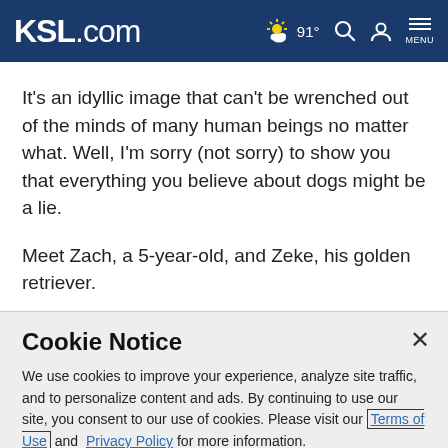KSL.com — 91° weather, search, account, menu
It's an idyllic image that can't be wrenched out of the minds of many human beings no matter what. Well, I'm sorry (not sorry) to show you that everything you believe about dogs might be a lie.
Meet Zach, a 5-year-old, and Zeke, his golden retriever.
Cookie Notice
We use cookies to improve your experience, analyze site traffic, and to personalize content and ads. By continuing to use our site, you consent to our use of cookies. Please visit our Terms of Use and Privacy Policy for more information.
Continue